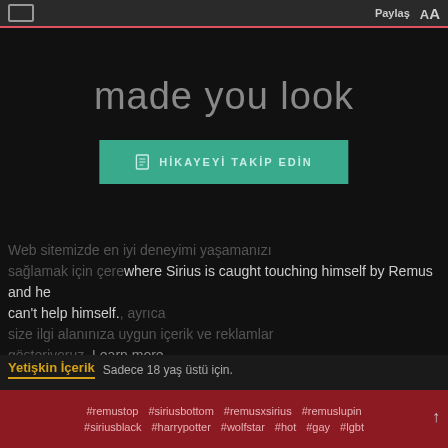Paylaş AA
made you look
HİKAYEYİ TAKİP EDİN
where Sirius is caught touching himself by Remus and he can't help himself.
Web sitemizde en iyi deneyimi yaşamanızı sağlamak için çerezleri, ayrıca size ilgi alanınıza uygun içerik ve reklamlar gösteriyoruz. Learn more
Yetişkin İçerik   Sadece 18 yaş üstü için.
#remustop #siriusbottom #remusxsirius #remuslupin #siriusblack #harrypotter #wolfstar #hot #gay #lgbt